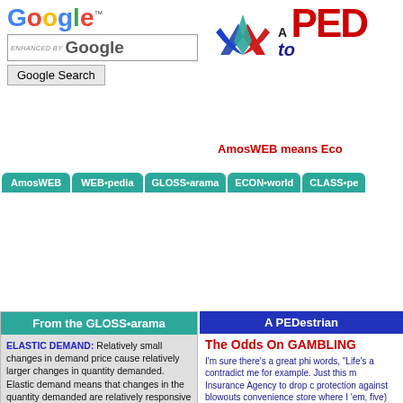[Figure (logo): Google logo with trademark symbol]
[Figure (logo): AmosWEB PED logo with star/arrow graphic, red PED title and blue italic subtitle 'to']
ENHANCED BY Google
Google Search
AmosWEB means Eco
[Figure (screenshot): Navigation bar with teal rounded buttons: AmosWEB, WEB•pedia, GLOSS•arama, ECON•world, CLASS•pe]
From the GLOSS•arama
ELASTIC DEMAND: Relatively small changes in demand price cause relatively larger changes in quantity demanded. Elastic demand means that changes in the quantity demanded are relatively responsive to changes in the demand price. An elastic demand has a coefficient of elasticity greater than one (the negative value is ignored). You might want to compare elastic demand to
A PEDestrian
The Odds On GAMBLING
I'm sure there's a great phi words, "Life's a contradict me for example. Just this m Insurance Agency to drop c protection against blowouts convenience store where I 'em, five) Super Luck-O Mu two blocks and twenty min insurance to avoid risk and